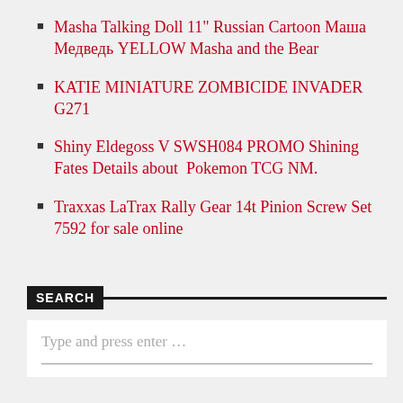Masha Talking Doll 11" Russian Cartoon Маша Медведь YELLOW Masha and the Bear
KATIE MINIATURE ZOMBICIDE INVADER G271
Shiny Eldegoss V SWSH084 PROMO Shining Fates Details about  Pokemon TCG NM.
Traxxas LaTrax Rally Gear 14t Pinion Screw Set 7592 for sale online
SEARCH
Type and press enter …